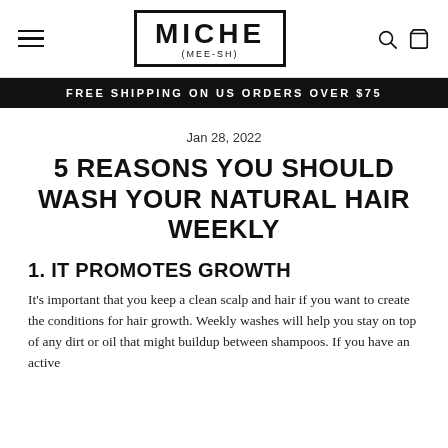MICHE (MEE-SH)
FREE SHIPPING ON US ORDERS OVER $75
Jan 28, 2022
5 REASONS YOU SHOULD WASH YOUR NATURAL HAIR WEEKLY
1. IT PROMOTES GROWTH
It's important that you keep a clean scalp and hair if you want to create the conditions for hair growth. Weekly washes will help you stay on top of any dirt or oil that might buildup between shampoos. If you have an active